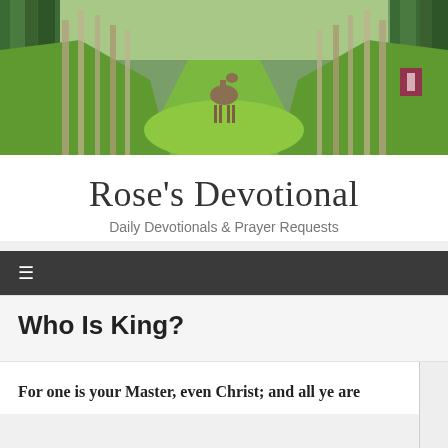[Figure (photo): A scenic nature photograph showing a grassy forest trail lined with tall trees (spruce/birch), with a deer standing in the middle of the path. Lush green grass and trees fill the scene.]
Rose's Devotional
Daily Devotionals & Prayer Requests
Who Is King?
For one is your Master, even Christ; and all ye are